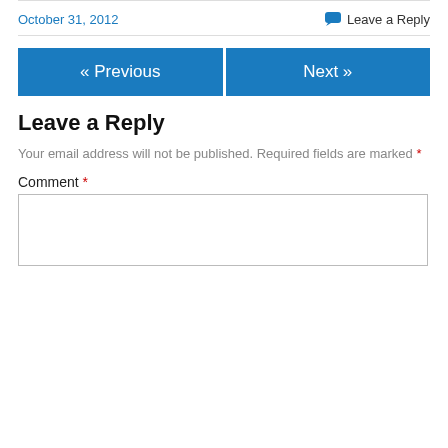October 31, 2012
Leave a Reply
« Previous
Next »
Leave a Reply
Your email address will not be published. Required fields are marked *
Comment *